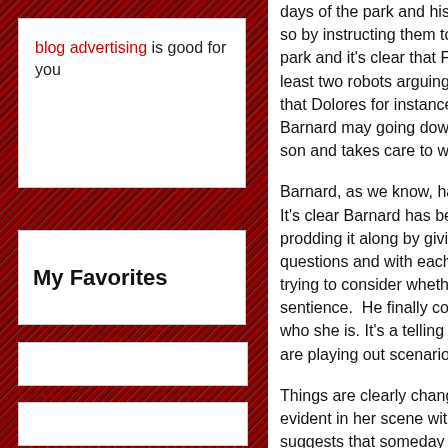blog advertising is good for you
My Favorites
days of the park and his partner... so by instructing them to hear the park and it's clear that Ford believes at least two robots arguing with an... that Dolores for instance acted... Barnard may going down the same... son and takes care to warn him
Barnard, as we know, has been... It's clear Barnard has been trying... prodding it along by giving her both... questions and with each answer... trying to consider whether to consider... sentience. He finally comes to a... who she is. It's a telling statement... are playing out scenarios for the...
Things are clearly changing for... evident in her scene with Teddy... suggests that someday is what... Dolores is willing to flea with or... unspecified guilt and cannot mo...